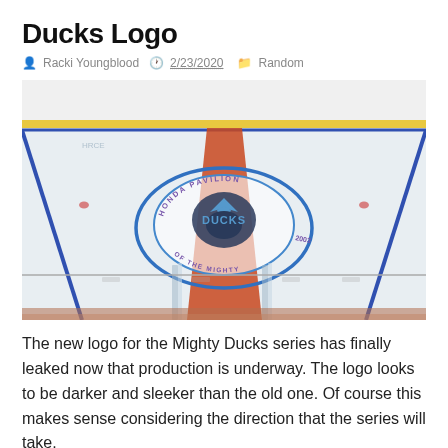Ducks Logo
Racki Youngblood  2/23/2020  Random
[Figure (photo): Overhead view of an ice hockey rink featuring a Mighty Ducks logo at center ice. The logo shows the Mighty Ducks mascot duck with text reading 'HONDA PAVILION HOME OF THE MIGHTY DUCKS 2003'. The rink has blue and yellow boundary lines, a red center line, and glass boards visible at the bottom.]
The new logo for the Mighty Ducks series has finally leaked now that production is underway. The logo looks to be darker and sleeker than the old one. Of course this makes sense considering the direction that the series will take.
On top of that Emilio Estevez will reprise his role as coach